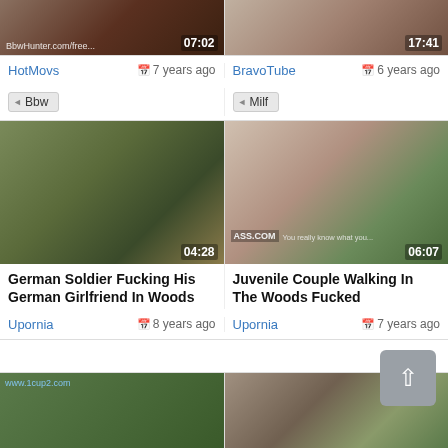[Figure (screenshot): Video thumbnail top-left with duration 07:02 and watermark BbwHunter.com/free...]
[Figure (screenshot): Video thumbnail top-right with duration 17:41]
HotMovs   7 years ago
BravoTube   6 years ago
Bbw
Milf
[Figure (screenshot): Video thumbnail mid-left showing outdoor scene, duration 04:28, title: German Soldier Fucking His German Girlfriend In Woods]
[Figure (screenshot): Video thumbnail mid-right showing woman with sunglasses outdoors, duration 06:07, ASS.com watermark, title: Juvenile Couple Walking In The Woods Fucked]
German Soldier Fucking His German Girlfriend In Woods
Juvenile Couple Walking In The Woods Fucked
Upornia   8 years ago
Upornia   7 years ago
[Figure (screenshot): Partial video thumbnail bottom-left, outdoor scene, www.1cup2.com watermark]
[Figure (screenshot): Partial video thumbnail bottom-right, woman in forest]